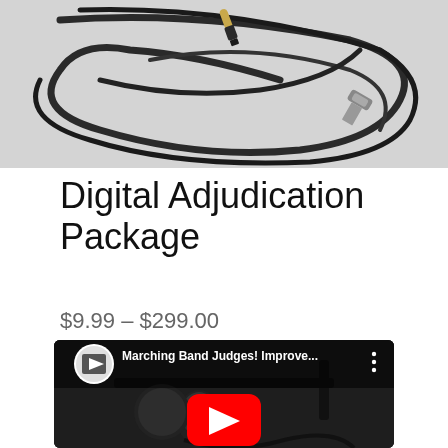[Figure (photo): Photo of tangled audio cables with a 3.5mm jack and a Lightning connector on a light gray background]
Digital Adjudication Package
$9.99 – $299.00
[Figure (screenshot): YouTube video thumbnail showing a microphone on a stand with the title 'Marching Band Judges! Improve...' and a YouTube play button overlay. A small channel logo is visible in the top left.]